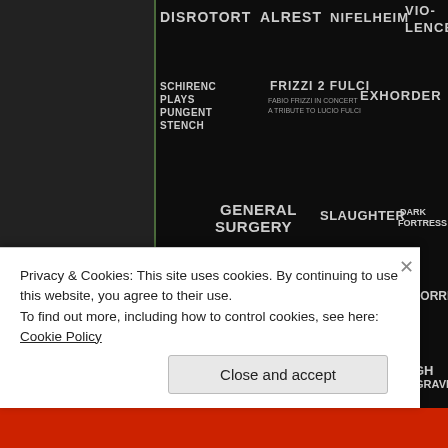[Figure (screenshot): Screenshot of a metal music website/festival poster showing multiple band logos (death metal, black metal) on a dark background including: Disrotort, Alrest, Nifelheim, Vio-lence, Schirenc Plays Pungent Stench, Frizzi 2 Fulci (Fabio Frizzi in Concert A Tribute to Lucio Fulci), Exhorder, General Surgery, Grog, Slaughter, Dark Fortress, Butcher ABC, At War, Sigh, Haemorrhage, Acid Witch, Putrid Pile, Skeletal Remains, Valkyrus, Cough, Graveyard, Cadaveric Incubator, Novembers Doom, Fuck the Facts, Flesh Parade, Antichrist, Sacrilege, Gravesend]
Privacy & Cookies: This site uses cookies. By continuing to use this website, you agree to their use.
To find out more, including how to control cookies, see here: Cookie Policy
Close and accept